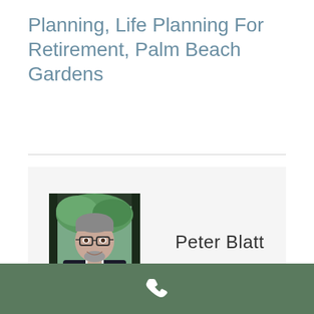Planning, Life Planning For Retirement, Palm Beach Gardens
[Figure (photo): Professional headshot of Peter Blatt, a middle-aged man with glasses and a beard, wearing a dark suit and tie, photographed in front of a window with greenery outside.]
Peter Blatt
Palm Beach Gardens, Unemployment Rates
[Figure (other): Phone call icon (white telephone handset) on a green footer bar.]